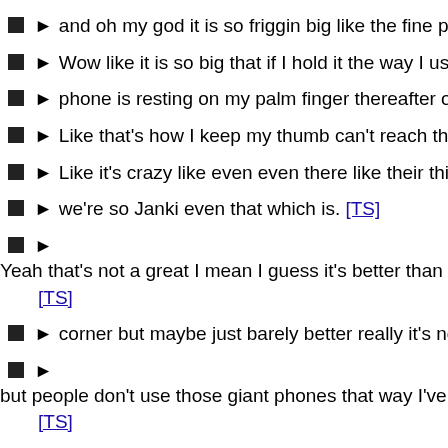and oh my god it is so friggin big like the fine print. I think the
Wow like it is so big that if I hold it the way I usually hold a p
phone is resting on my palm finger thereafter on the right sid
Like that's how I keep my thumb can't reach the home butto
Like it's crazy like even even there like their thing that drops
we're so Janki even that which is. [TS]
Yeah that's not a great I mean I guess it's better than like pu [TS]
corner but maybe just barely better really it's not that much [
but people don't use those giant phones that way I've seen a [TS]
Holding On the way you're old and they use them either like